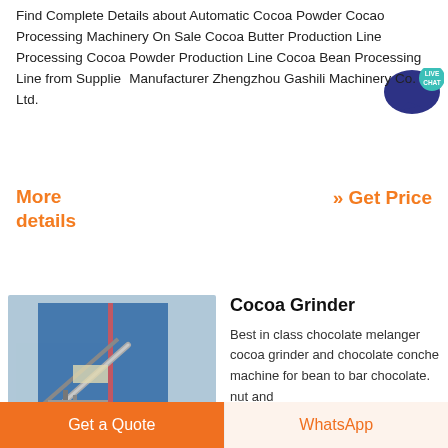Find Complete Details about Automatic Cocoa Powder Cocao Processing Machinery On Sale Cocoa Butter Production Line Processing Cocoa Powder Production Line Cocoa Bean Processing Line from Supplier Manufacturer Zhengzhou Gashili Machinery Co. Ltd.
More details
» Get Price
[Figure (photo): Industrial facility with blue building and conveyor/chute structures]
Cocoa Grinder
Best in class chocolate melanger cocoa grinder and chocolate conche machine for bean to bar chocolate. nut and